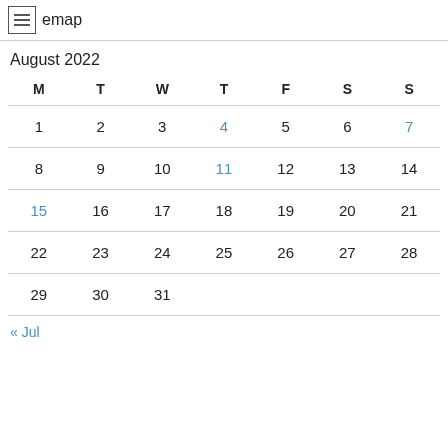emap
August 2022
| M | T | W | T | F | S | S |
| --- | --- | --- | --- | --- | --- | --- |
| 1 | 2 | 3 | 4 | 5 | 6 | 7 |
| 8 | 9 | 10 | 11 | 12 | 13 | 14 |
| 15 | 16 | 17 | 18 | 19 | 20 | 21 |
| 22 | 23 | 24 | 25 | 26 | 27 | 28 |
| 29 | 30 | 31 |  |  |  |  |
« Jul